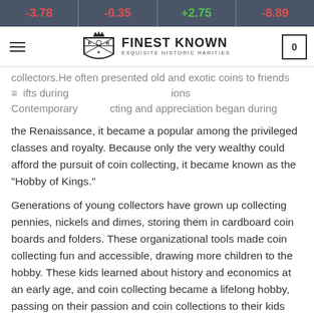-3.78  -0.35  +2.75  -8.89
Finest Known — Exquisite Historic Rarities (navigation bar)
collectors.He often presented old and exotic coins to friends gifts during ... Contemporary ... collecting and appreciation began during the Renaissance, it became a popular among the privileged classes and royalty. Because only the very wealthy could afford the pursuit of coin collecting, it became known as the "Hobby of Kings."
Generations of young collectors have grown up collecting pennies, nickels and dimes, storing them in cardboard coin boards and folders. These organizational tools made coin collecting fun and accessible, drawing more children to the hobby. These kids learned about history and economics at an early age, and coin collecting became a lifelong hobby, passing on their passion and coin collections to their kids and grandkids. Today, collectors have access to coins online and educational resources that would have been unimaginable